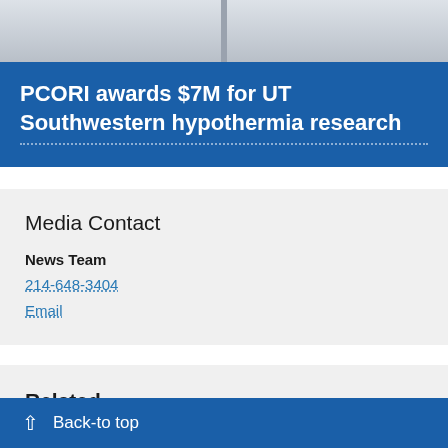[Figure (photo): Photo of a person in a lab coat, partial view showing white coat and background]
PCORI awards $7M for UT Southwestern hypothermia research
Media Contact
News Team
214-648-3404
Email
Related Departments & Centers
Green Center for Reproductive Biology Sciences
Back-to top